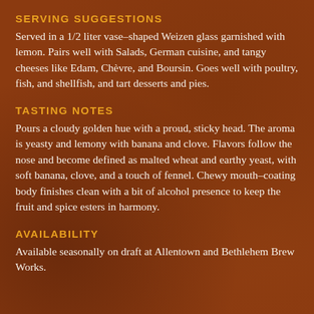SERVING SUGGESTIONS
Served in a 1/2 liter vase-shaped Weizen glass garnished with lemon. Pairs well with Salads, German cuisine, and tangy cheeses like Edam, Chèvre, and Boursin. Goes well with poultry, fish, and shellfish, and tart desserts and pies.
TASTING NOTES
Pours a cloudy golden hue with a proud, sticky head. The aroma is yeasty and lemony with banana and clove. Flavors follow the nose and become defined as malted wheat and earthy yeast, with soft banana, clove, and a touch of fennel. Chewy mouth-coating body finishes clean with a bit of alcohol presence to keep the fruit and spice esters in harmony.
AVAILABILITY
Available seasonally on draft at Allentown and Bethlehem Brew Works.